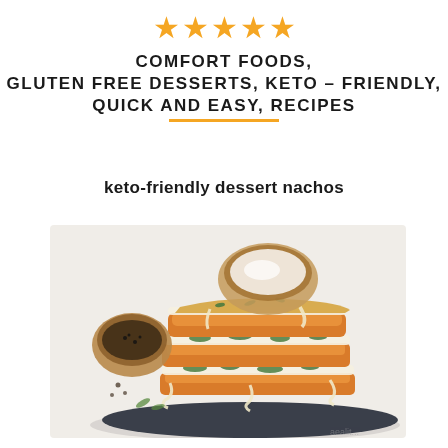[Figure (other): Five gold star rating icons in a row]
COMFORT FOODS, GLUTEN FREE DESSERTS, KETO – FRIENDLY, QUICK AND EASY, RECIPES
keto-friendly dessert nachos
[Figure (photo): A layered keto-friendly dish stacked on a dark plate, resembling lasagna or dessert nachos with melted cheese and greens, with wooden bowls of spices in the background]